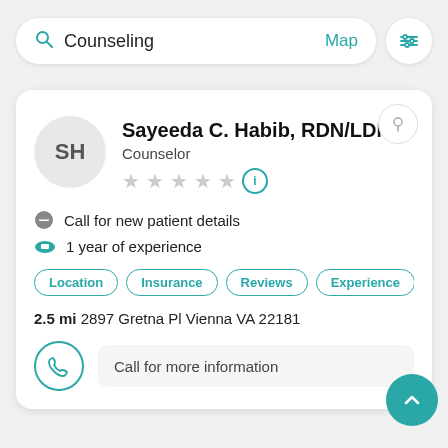[Figure (screenshot): Search bar with 'Counseling' text, Map link, and filter icon button]
[Figure (screenshot): Provider card for Sayeeda C. Habib, RDN/LDN with avatar initials SH, Counselor title, empty star rating, call for new patient details, 1 year of experience, filter tabs (Location, Insurance, Reviews, Experience, A...), address 2.5 mi 2897 Gretna Pl Vienna VA 22181, and Call for more information button]
Counseling
Map
Sayeeda C. Habib, RDN/LDN
Counselor
Call for new patient details
1 year of experience
2.5 mi 2897 Gretna Pl Vienna VA 22181
Call for more information